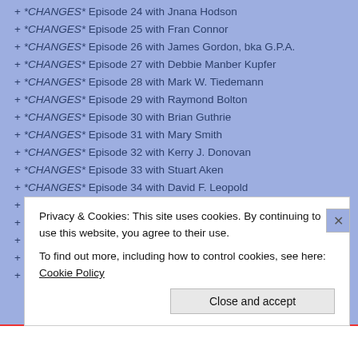+ *CHANGES* Episode 24 with Jnana Hodson
+ *CHANGES* Episode 25 with Fran Connor
+ *CHANGES* Episode 26 with James Gordon, bka G.P.A.
+ *CHANGES* Episode 27 with Debbie Manber Kupfer
+ *CHANGES* Episode 28 with Mark W. Tiedemann
+ *CHANGES* Episode 29 with Raymond Bolton
+ *CHANGES* Episode 30 with Brian Guthrie
+ *CHANGES* Episode 31 with Mary Smith
+ *CHANGES* Episode 32 with Kerry J. Donovan
+ *CHANGES* Episode 33 with Stuart Aken
+ *CHANGES* Episode 34 with David F. Leopold
+ *CHANGES* Episode 35 with Melita Noël Cantú
+ *CHANGES* Episode 36 with Rob L. Slater
+ *CHANGES* Episode 37 with Vartika Singh Sikarwar
+ *CHANGES* Episode 38 with Sally Ember, Ed.D.
+ *CHANGES* Episode 39 with M.P. McVey
Privacy & Cookies: This site uses cookies. By continuing to use this website, you agree to their use. To find out more, including how to control cookies, see here: Cookie Policy